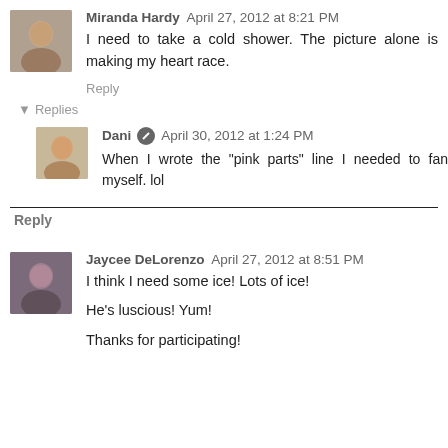Miranda Hardy  April 27, 2012 at 8:21 PM
I need to take a cold shower. The picture alone is making my heart race.
Reply
▾ Replies
Dani  April 30, 2012 at 1:24 PM
When I wrote the "pink parts" line I needed to fan myself. lol
Reply
Jaycee DeLorenzo  April 27, 2012 at 8:51 PM
I think I need some ice! Lots of ice!
He's luscious! Yum!
Thanks for participating!